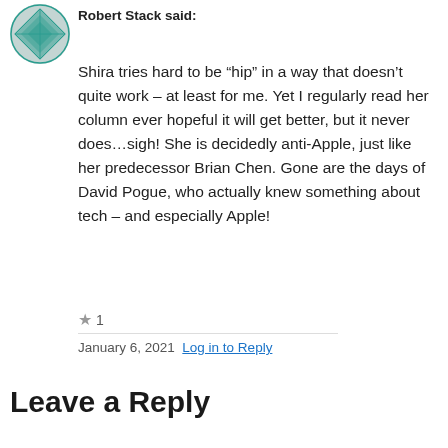Robert Stack said:
Shira tries hard to be “hip” in a way that doesn't quite work – at least for me. Yet I regularly read her column ever hopeful it will get better, but it never does…sigh! She is decidedly anti-Apple, just like her predecessor Brian Chen. Gone are the days of David Pogue, who actually knew something about tech – and especially Apple!
★ 1
January 6, 2021 Log in to Reply
Leave a Reply